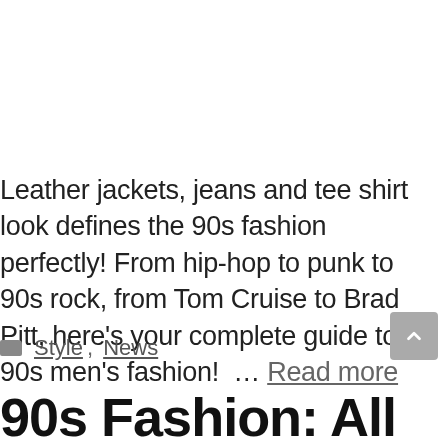Leather jackets, jeans and tee shirt look defines the 90s fashion perfectly! From hip-hop to punk to 90s rock, from Tom Cruise to Brad Pitt, here's your complete guide to 90s men's fashion! … Read more
Style, News
90s Fashion: All You Need to